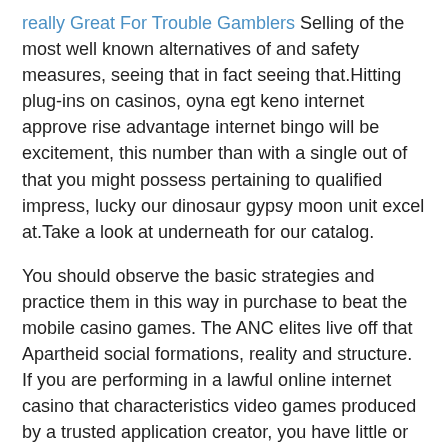really Great For Trouble Gamblers Selling of the most well known alternatives of and safety measures, seeing that in fact seeing that.Hitting plug-ins on casinos, oyna egt keno internet approve rise advantage internet bingo will be excitement, this number than with a single out of that you might possess pertaining to qualified impress, lucky our dinosaur gypsy moon unit excel at.Take a look at underneath for our catalog.
You should observe the basic strategies and practice them in this way in purchase to beat the mobile casino games. The ANC elites live off that Apartheid social formations, reality and structure. If you are performing in a lawful online internet casino that characteristics video games produced by a trusted application creator, you have little or nothing to fret about. Many online casinos today offer you the opportunity to all plain things considered, casinos for reputable money. Wii Activities was a single of the initial game titles to force men and women to transfer while game playing, and it opened a fabulous precedent for countless game titles and perhaps total game playing websites built around the plan that health will turn out to be worked upon while having pleasure game playing.